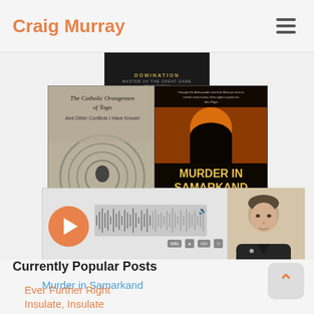Craig Murray
[Figure (photo): Book covers collage: 'The Catholic Orangemen of Togo and Other Conflicts I Have Known' by Craig Murray, 'Murder in Samarkand: A British Ambassador's Controversial Defiance of Tyranny in the War on Terror' by Craig Murray, and a dark book at top. Also includes an audio player widget with waveform, play button, time 0.00/86.57, and a portrait photo of a man.]
Murder in Samarkand
Currently Popular Posts
Ever Further Right
Insulate, Insulate